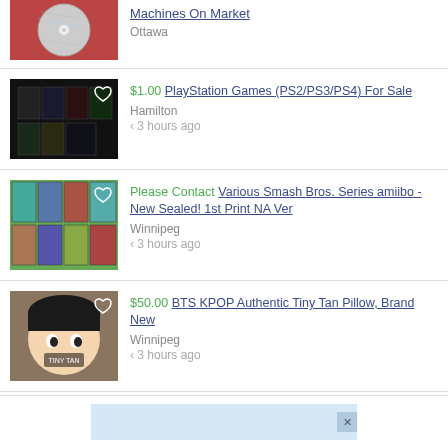[Figure (screenshot): Partial listing at top showing a CD/disc image with Ottawa location and partial title 'Machines On Market']
[Figure (screenshot): Listing: $1.00 PlayStation Games (PS2/PS3/PS4) For Sale, Hamilton, < 3 hours ago. Thumbnail shows game cases.]
[Figure (screenshot): Listing: Please Contact Various Smash Bros. Series amiibo - New Sealed! 1st Print NA Ver, Winnipeg, < 3 hours ago. Thumbnail shows amiibo boxes.]
[Figure (screenshot): Listing: $50.00 BTS KPOP Authentic Tiny Tan Pillow, Brand New, Winnipeg, < 3 hours ago. Thumbnail shows a plush toy pillow.]
[Figure (screenshot): Advertisement banner at bottom, light blue, with X close button]